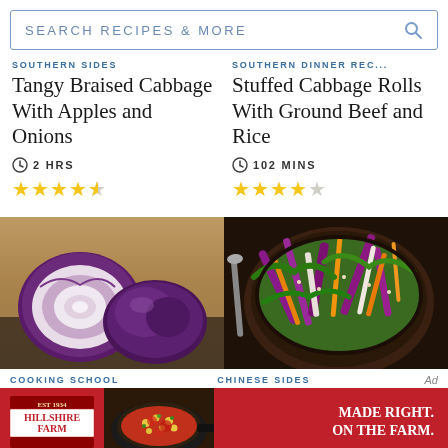SEARCH RECIPES & MORE
SOUTHERN SIDES
Tangy Braised Cabbage With Apples and Onions
2 HRS
4.5 stars
SOUTHERN DINNER REC...
Stuffed Cabbage Rolls With Ground Beef and Rice
102 MINS
4 stars
[Figure (photo): Cut red/purple cabbage halves on a wooden surface]
[Figure (photo): Bowl of colorful coleslaw with purple cabbage, carrots, and greens]
COOKING SCHOOL
CHINESE SIDES
Ad
[Figure (illustration): Hillshire Farm advertisement banner with logo and food image, text: MADE RIGHT. ON THE FARM.]